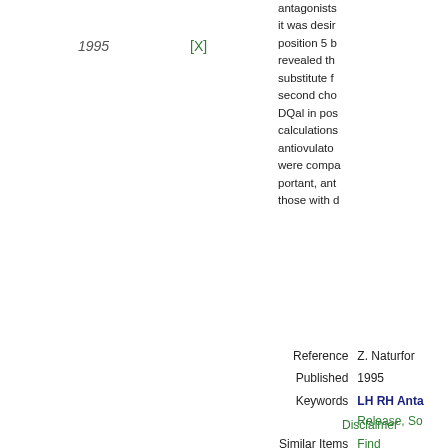1995
[X]
antagonists it was desir position 5 b revealed th substitute f second cho DQal in pos calculations antiovulato were compa portant, ant those with d
Reference   Z. Naturfor
Published   1995
Keywords   LH RH Anta Release, So
Similar Items   Find
Disclaimer